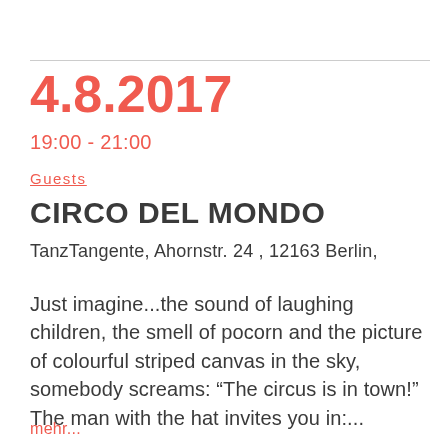4.8.2017
19:00 - 21:00
Guests
CIRCO DEL MONDO
TanzTangente, Ahornstr. 24 , 12163 Berlin,
Just imagine...the sound of laughing children, the smell of pocorn and the picture of colourful striped canvas in the sky, somebody screams: “The circus is in town!” The man with the hat invites you in:...
mehr...